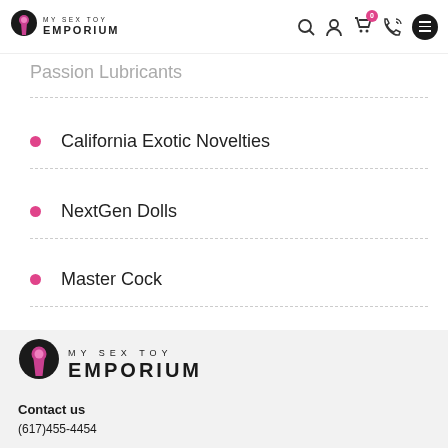MY SEX TOY EMPORIUM
Passion Lubricants
California Exotic Novelties
NextGen Dolls
Master Cock
[Figure (logo): My Sex Toy Emporium logo with keyhole icon and text]
Contact us
(617)455-4454